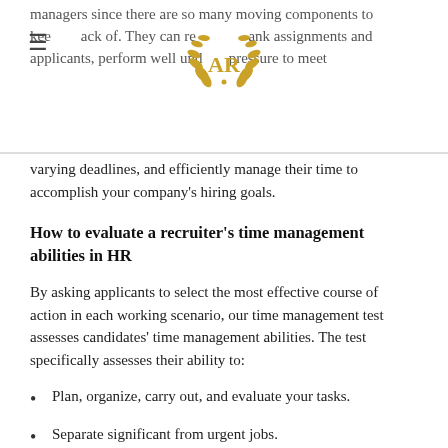managers since there are so many moving components to keep track of. They can reassign and rank assignments and applicants, perform well under pressure to meet
varying deadlines, and efficiently manage their time to accomplish your company's hiring goals.
How to evaluate a recruiter's time management abilities in HR
By asking applicants to select the most effective course of action in each working scenario, our time management test assesses candidates' time management abilities. The test specifically assesses their ability to:
Plan, organize, carry out, and evaluate your tasks.
Separate significant from urgent jobs.
Avoid being distracted.
Self-motivation and self-